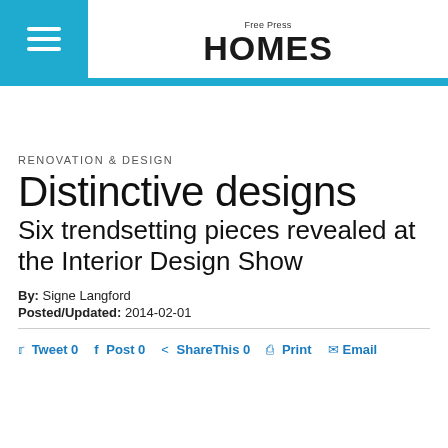Free Press HOMES
RENOVATION & DESIGN
Distinctive designs
Six trendsetting pieces revealed at the Interior Design Show
By: Signe Langford
Posted/Updated: 2014-02-01
Tweet 0  Post 0  ShareThis 0  Print  Email